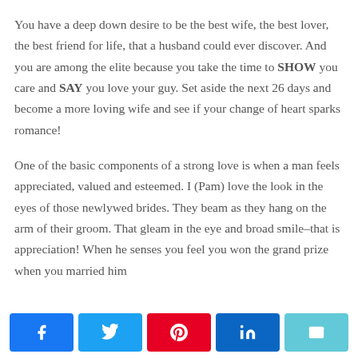You have a deep down desire to be the best wife, the best lover, the best friend for life, that a husband could ever discover. And you are among the elite because you take the time to SHOW you care and SAY you love your guy. Set aside the next 26 days and become a more loving wife and see if your change of heart sparks romance!
One of the basic components of a strong love is when a man feels appreciated, valued and esteemed. I (Pam) love the look in the eyes of those newlywed brides. They beam as they hang on the arm of their groom. That gleam in the eye and broad smile–that is appreciation! When he senses you feel you won the grand prize when you married him
[Figure (infographic): Social share bar with five buttons: Facebook (blue), Twitter (light blue), Pinterest (red), LinkedIn (dark blue), Email (teal/cyan)]